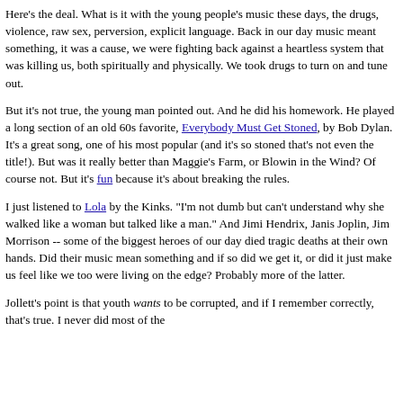Here's the deal. What is it with the young people's music these days, the drugs, violence, raw sex, perversion, explicit language. Back in our day music meant something, it was a cause, we were fighting back against a heartless system that was killing us, both spiritually and physically. We took drugs to turn on and tune out.
But it's not true, the young man pointed out. And he did his homework. He played a long section of an old 60s favorite, Everybody Must Get Stoned, by Bob Dylan. It's a great song, one of his most popular (and it's so stoned that's not even the title!). But was it really better than Maggie's Farm, or Blowin in the Wind? Of course not. But it's fun because it's about breaking the rules.
I just listened to Lola by the Kinks. "I'm not dumb but can't understand why she walked like a woman but talked like a man." And Jimi Hendrix, Janis Joplin, Jim Morrison -- some of the biggest heroes of our day died tragic deaths at their own hands. Did their music mean something and if so did we get it, or did it just make us feel like we too were living on the edge? Probably more of the latter.
Jollett's point is that youth wants to be corrupted, and if I remember correctly, that's true. I never did most of the